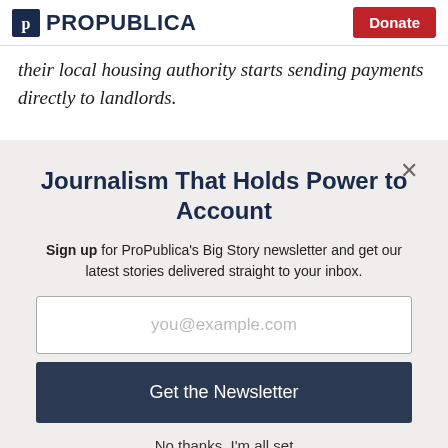ProPublica | Donate
their local housing authority starts sending payments directly to landlords.
Journalism That Holds Power to Account
Sign up for ProPublica's Big Story newsletter and get our latest stories delivered straight to your inbox.
you@example.com
Get the Newsletter
No thanks, I'm all set
This site is protected by reCAPTCHA and the Google Privacy Policy and Terms of Service apply.